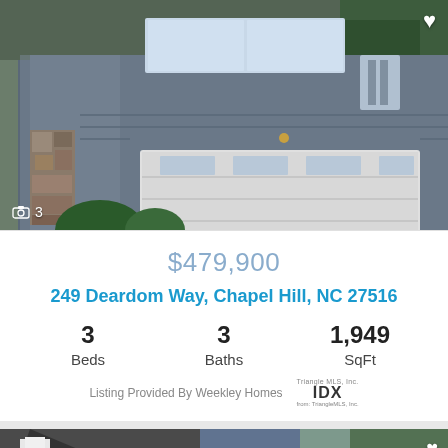[Figure (photo): Two-story house with gray siding, white garage door, stone accents, and white porch columns. Photo count overlay showing camera icon and '3'.]
$479,900
249 Deardom Way, Chapel Hill, NC 27516
3 Beds
3 Baths
1,949 SqFt
Listing Provided By Weekley Homes
[Figure (photo): Partial view of a second house listing with beige/tan siding and dark roof at the bottom of the page.]